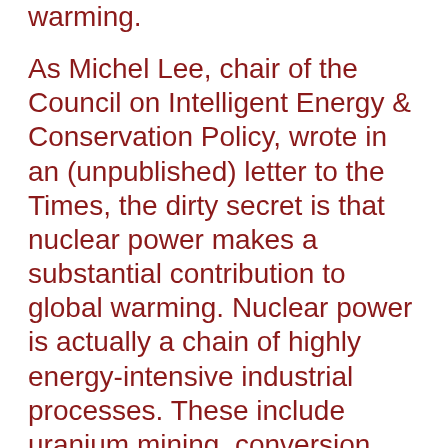warming.
As Michel Lee, chair of the Council on Intelligent Energy & Conservation Policy, wrote in an (unpublished) letter to the Times, the dirty secret is that nuclear power makes a substantial contribution to global warming. Nuclear power is actually a chain of highly energy-intensive industrial processes. These include uranium mining, conversion, enrichment and fabrication of nuclear fuel; construction and deconstruction of the massive nuclear facility structures; and the disposition of high-level nuclear waste.
She included information on “independent studies that document in detail the extent to which the entire nuclear cycle generates greenhouse emissions."